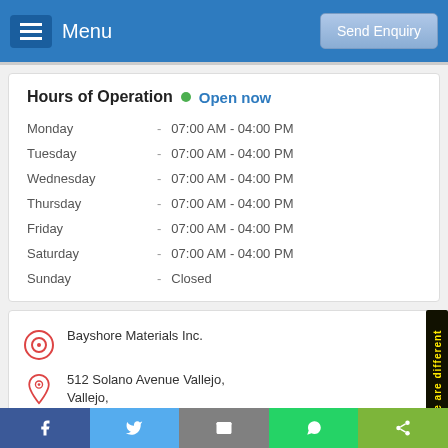Menu   Send Enquiry
Hours of Operation • Open now
| Day |  | Hours |
| --- | --- | --- |
| Monday | - | 07:00 AM - 04:00 PM |
| Tuesday | - | 07:00 AM - 04:00 PM |
| Wednesday | - | 07:00 AM - 04:00 PM |
| Thursday | - | 07:00 AM - 04:00 PM |
| Friday | - | 07:00 AM - 04:00 PM |
| Saturday | - | 07:00 AM - 04:00 PM |
| Sunday | - | Closed |
Bayshore Materials Inc.
512 Solano Avenue Vallejo, Vallejo,
Facebook  Twitter  Email  WhatsApp  Share